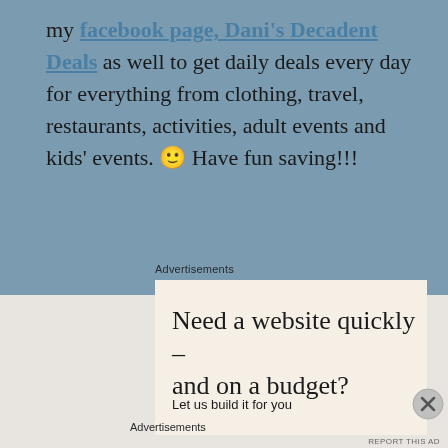my facebook page, Dani's Decadent Deals as well to get daily deals every day for everything from clothing, travel, restaurants, activities, adult events and kids' events. 🙂 Have fun saving!!!
Advertisements
[Figure (other): Advertisement box with cream background. Headline: 'Need a website quickly – and on a budget?' Subtext: 'Let us build it for you']
Advertisements